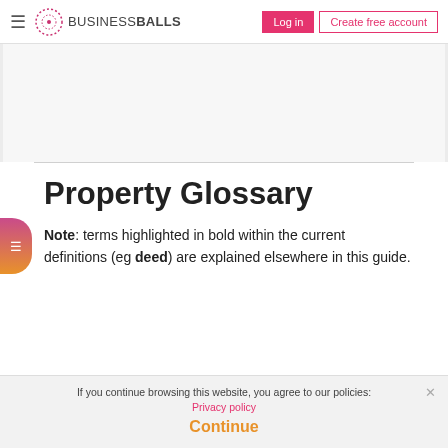BUSINESSBALLS | Log in | Create free account
[Figure (other): Gray advertisement/banner placeholder area]
Property Glossary
Note: terms highlighted in bold within the current definitions (eg deed) are explained elsewhere in this guide.
If you continue browsing this website, you agree to our policies: Privacy policy
Continue